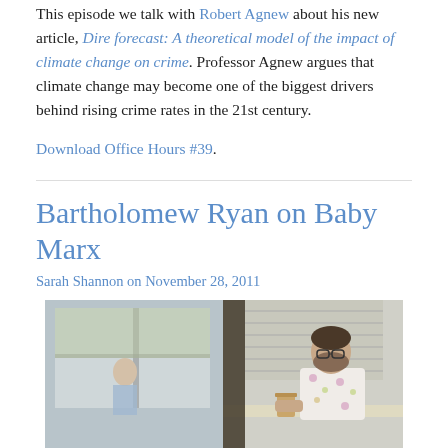This episode we talk with Robert Agnew about his new article, Dire forecast: A theoretical model of the impact of climate change on crime. Professor Agnew argues that climate change may become one of the biggest drivers behind rising crime rates in the 21st century.
Download Office Hours #39.
Bartholomew Ryan on Baby Marx
Sarah Shannon on November 28, 2011
[Figure (photo): A person sitting at a table in a cafe or indoor space with large windows, wearing glasses and a floral shirt, with another person visible in the background.]